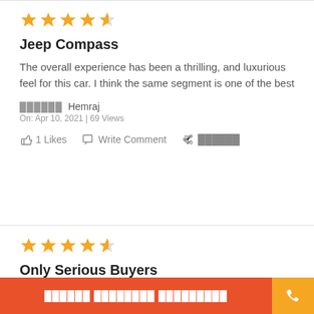[Figure (other): Star rating showing 4.5 out of 5 stars in orange]
Jeep Compass
The overall experience has been a thrilling, and luxurious feel for this car. I think the same segment is one of the best
██████ Hemraj
On: Apr 10, 2021 | 69 Views
1 Likes   Write Comment   ██████
[Figure (other): Star rating showing 4.5 out of 5 stars in orange]
Only Serious Buyers
██████ ████████ █████████